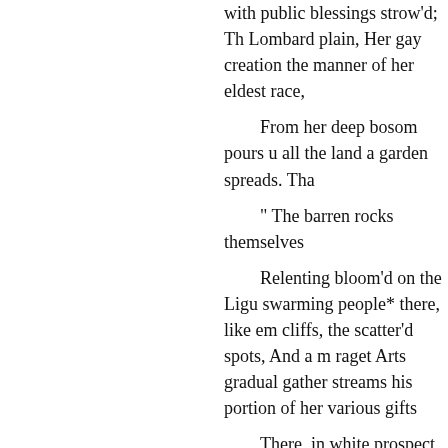with public blessings strow'd; Th Lombard plain, Her gay creation the manner of her eldest race,
From her deep bosom pours u all the land a garden spreads. Tha
“ The barren rocks themselves
Relenting bloom’d on the Ligu swarming people* there, like em cliffs, the scatter’d spots, And a m raget Arts gradual gather streams his portion of her various gifts
There, in white prospect, from descending to the shelter’d shore, turrets rose. Perfection stands, lik
And while my genuine spirit w
Beneath her Dorias, not unwor
Vied for the trident of the narr
Ere Britain yet had open’d all t
« Nor be the then triumphant s from plunder’d earth, a remnants
illo Of arlo oool It oo t o o